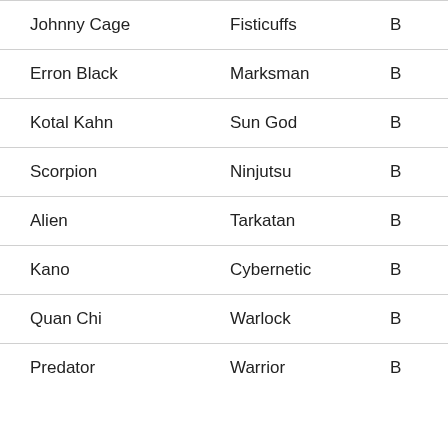| Johnny Cage | Fisticuffs | B |
| Erron Black | Marksman | B |
| Kotal Kahn | Sun God | B |
| Scorpion | Ninjutsu | B |
| Alien | Tarkatan | B |
| Kano | Cybernetic | B |
| Quan Chi | Warlock | B |
| Predator | Warrior | B |